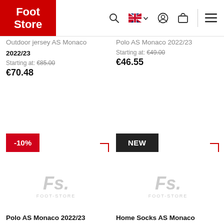Foot Store
Outdoor jersey AS Monaco 2022/23
Starting at: €85.00
€70.48
Polo AS Monaco 2022/23
Starting at: €49.00
€46.55
[Figure (other): -10% discount badge]
[Figure (other): NEW badge]
[Figure (logo): Fs. FOOT-STORE watermark placeholder image left]
[Figure (logo): Fs. FOOT-STORE watermark placeholder image right]
Polo AS Monaco 2022/23
Home Socks AS Monaco